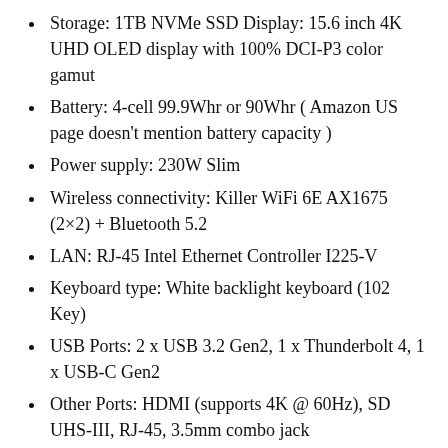Storage: 1TB NVMe SSD Display: 15.6 inch 4K UHD OLED display with 100% DCI-P3 color gamut
Battery: 4-cell 99.9Whr or 90Whr ( Amazon US page doesn't mention battery capacity )
Power supply: 230W Slim
Wireless connectivity: Killer WiFi 6E AX1675 (2×2) + Bluetooth 5.2
LAN: RJ-45 Intel Ethernet Controller I225-V
Keyboard type: White backlight keyboard (102 Key)
USB Ports: 2 x USB 3.2 Gen2, 1 x Thunderbolt 4, 1 x USB-C Gen2
Other Ports: HDMI (supports 4K @ 60Hz), SD UHS-III, RJ-45, 3.5mm combo jack
Audio: Nahimic 3, Hi-Res Audio, Speakers